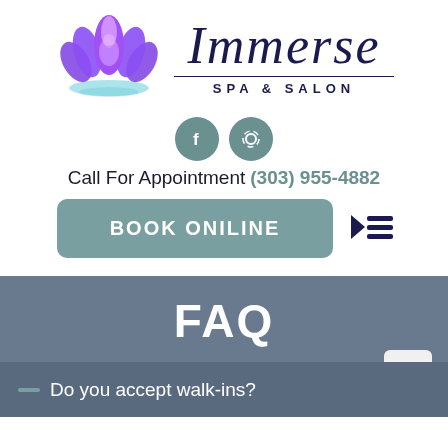[Figure (logo): Purple lotus flower with teal water reflection, logo for Immerse Spa & Salon]
Immerse
SPA & SALON
[Figure (illustration): Two teal circular icons: Facebook icon and phone/signal icon]
Call For Appointment (303) 955-4882
BOOK ONILINE
[Figure (illustration): Hamburger menu icon with right-pointing arrow]
FAQ
Do you accept walk-ins?